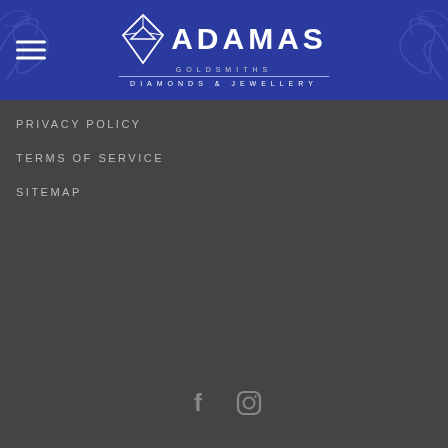[Figure (logo): Adamas Goldsmiths Diamonds & Jewellery logo with diamond shape icon on blue background with decorative scrollwork]
PRIVACY POLICY
TERMS OF SERVICE
SITEMAP
[Figure (illustration): Social media icons: Facebook (f) and Instagram camera icon in grey]